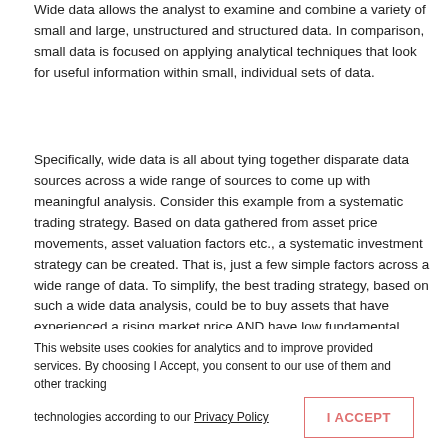Wide data allows the analyst to examine and combine a variety of small and large, unstructured and structured data. In comparison, small data is focused on applying analytical techniques that look for useful information within small, individual sets of data.
Specifically, wide data is all about tying together disparate data sources across a wide range of sources to come up with meaningful analysis. Consider this example from a systematic trading strategy. Based on data gathered from asset price movements, asset valuation factors etc., a systematic investment strategy can be created. That is, just a few simple factors across a wide range of data. To simplify, the best trading strategy, based on such a wide data analysis, could be to buy assets that have experienced a rising market price AND have low fundamental valuation AND intending to hold such assets for a 1-3 month period.
This website uses cookies for analytics and to improve provided services. By choosing I Accept, you consent to our use of them and other tracking technologies according to our Privacy Policy